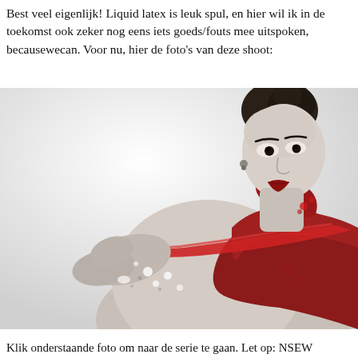Best veel eigenlijk! Liquid latex is leuk spul, en hier wil ik in de toekomst ook zeker nog eens iets goeds/fouts mee uitspoken, becausewecan. Voor nu, hier de foto's van deze shoot:
[Figure (photo): Black and white photo of a woman with red liquid latex body paint, pulling a strip of red latex away from her body against a white background. She has dark hair pulled up and is looking intensely at the camera.]
Klik onderstaande foto om naar de serie te gaan. Let op: NSEW